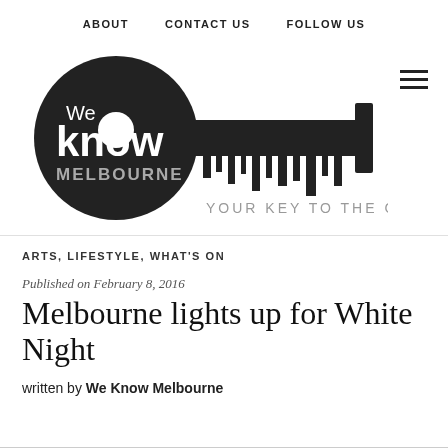ABOUT   CONTACT US   FOLLOW US
[Figure (logo): We Know Melbourne logo — a dark circle with 'We know MELBOURNE' in white text, attached to a key shape with a city skyline silhouette, and tagline 'YOUR KEY TO THE CITY']
ARTS, LIFESTYLE, WHAT'S ON
Published on February 8, 2016
Melbourne lights up for White Night
written by We Know Melbourne